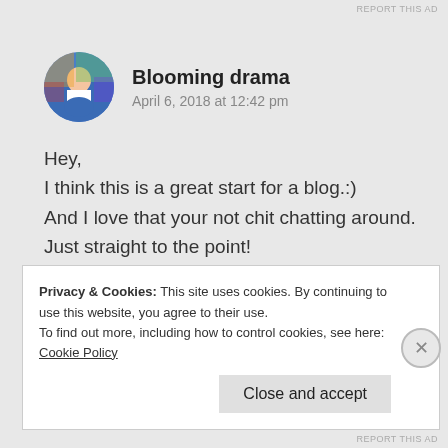REPORT THIS AD
[Figure (photo): Circular avatar photo of user Blooming drama — colorful illustrated background with a person figure]
Blooming drama
April 6, 2018 at 12:42 pm
Hey,
I think this is a great start for a blog.:)
And I love that your not chit chatting around.
Just straight to the point!
Privacy & Cookies: This site uses cookies. By continuing to use this website, you agree to their use.
To find out more, including how to control cookies, see here: Cookie Policy
Close and accept
REPORT THIS AD